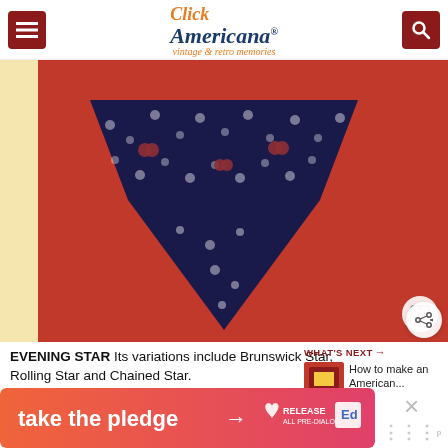Click Americana® vintage & retro memories
[Figure (photo): Close-up of a quilt block showing the Evening Star pattern — dark navy blue fabric with white flowers and red cherries on a red background, forming a star/diamond shape with triangular points.]
EVENING STAR Its variations include Brunswick Star, Rolling Star and Chained Star.
WHAT'S NEXT → How to make an American...
[Figure (photo): Small thumbnail image of an American quilt for 'What's Next' panel.]
[Figure (infographic): Ad banner: take the pledge → RELEASE | Ed logo]
take the pledge →